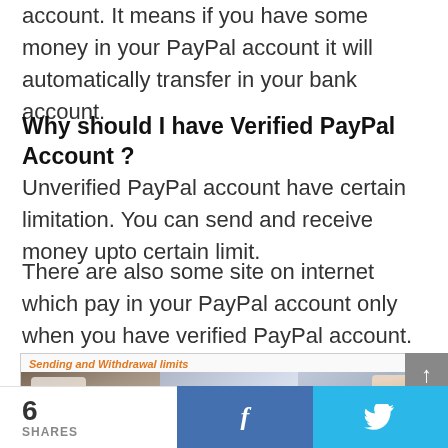account. It means if you have some money in your PayPal account it will automatically transfer in your bank account.
Why should I have Verified PayPal Account ?
Unverified PayPal account have certain limitation. You can send and receive money upto certain limit.
There are also some site on internet which pay in your PayPal account only when you have verified PayPal account.
[Figure (screenshot): Screenshot showing a PayPal 'Sending and Withdrawal limits' page with photos of people using computers, labeled with orange italic text 'Sending and Withdrawal limits']
6 SHARES   f   (Twitter bird icon)